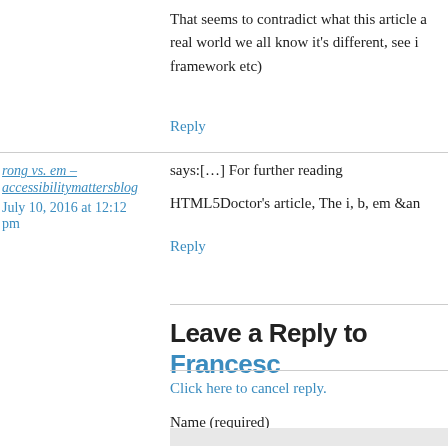That seems to contradict what this article a… real world we all know it's different, see i… framework etc)
Reply
rong vs. em – accessibilitymattersblog says:[…] For further reading… HTML5Doctor's article, The i, b, em &an…
July 10, 2016 at 12:12 pm
Reply
Leave a Reply to Francesc…
Click here to cancel reply.
Name (required)
Mail (will not be published) (required)